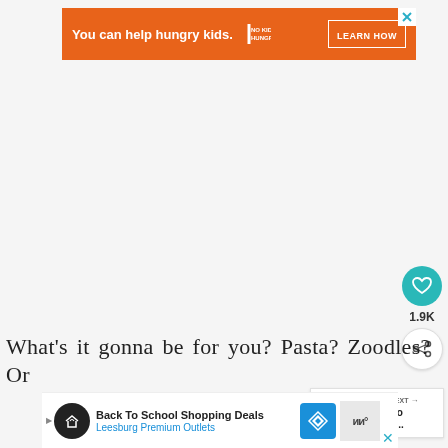[Figure (screenshot): Orange advertisement banner reading 'You can help hungry kids.' with No Kid Hungry logo and 'LEARN HOW' button, with X close button in top right corner]
[Figure (screenshot): Teal circular heart/like button with 1.9K count below it, and a share button (circle with share icon) beneath that]
[Figure (screenshot): What's Next panel showing a food thumbnail image with text 'WHAT'S NEXT →' and 'Avocado Stuffed...']
What's it gonna be for you? Pasta? Zoodles? Or
[Figure (screenshot): Bottom advertisement banner for 'Back To School Shopping Deals - Leesburg Premium Outlets' with circular black icon, blue navigation logo, and ad close controls]